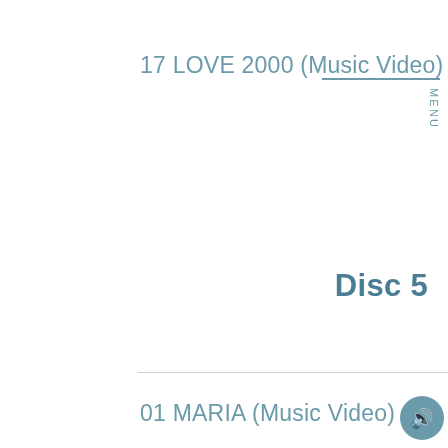17 LOVE 2000 (Music Video)
MENU
Disc 5
01 MARIA (Music Video)
02 キミにKISS (Music Video)
03 INNER CHILD (Music Video)